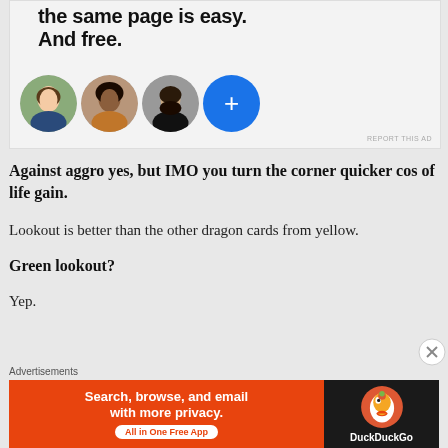[Figure (screenshot): Top advertisement banner showing bold text 'the same page is easy. And free.' with three circular avatar photos and a blue plus button circle]
REPORT THIS AD
Against aggro yes, but IMO you turn the corner quicker cos of life gain.
Lookout is better than the other dragon cards from yellow.
Green lookout?
Yep.
Advertisements
[Figure (screenshot): DuckDuckGo advertisement banner: orange left side reading 'Search, browse, and email with more privacy. All in One Free App', dark right side with DuckDuckGo duck logo and text 'DuckDuckGo']